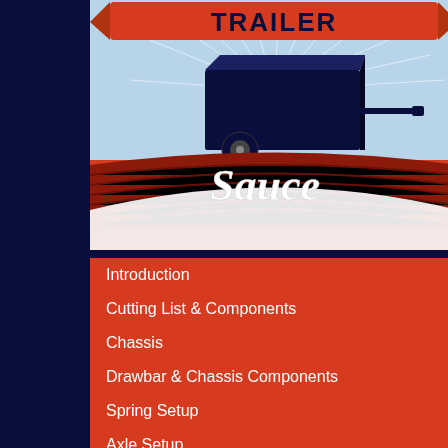[Figure (logo): Trailer Sauce logo featuring a dark blue trailer/cart graphic on a light blue starburst background, with the word TRAILER in red/orange at the top and Sauce in white cursive script below, on a red/dark blue background with horizontal lines]
Introduction
Cutting List & Components
Chassis
Drawbar & Chassis Components
Spring Setup
Axle Setup
Guards
Roller Beams